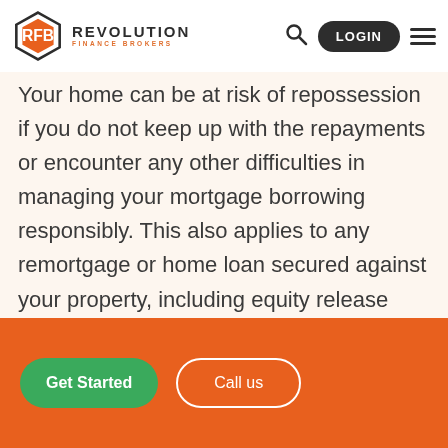REVOLUTION FINANCE BROKERS
Your home can be at risk of repossession if you do not keep up with the repayments or encounter any other difficulties in managing your mortgage borrowing responsibly. This also applies to any remortgage or home loan secured against your property, including equity release products.
Get Started | Call us